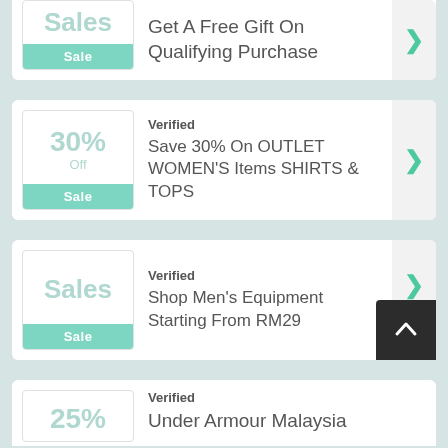[Figure (infographic): Coupon card: Sales badge with Sale label, text: Get A Free Gift On Qualifying Purchase, with arrow button]
[Figure (infographic): Coupon card: 30% Off badge with Sale label, Verified label, text: Save 30% On OUTLET WOMEN'S Items SHIRTS & TOPS, with arrow button]
[Figure (infographic): Coupon card: Sales badge with Sale label, Verified label, text: Shop Men's Equipment Starting From RM29, with arrow button and scroll-to-top dark button]
[Figure (infographic): Partial coupon card: Verified label, text: Under Armour Malaysia, with partial 25% badge visible]